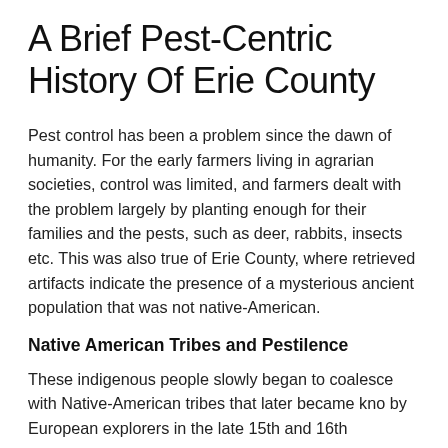A Brief Pest-Centric History Of Erie County
Pest control has been a problem since the dawn of humanity. For the early farmers living in agrarian societies, control was limited, and farmers dealt with the problem largely by planting enough for their families and the pests, such as deer, rabbits, insects etc. This was also true of Erie County, where retrieved artifacts indicate the presence of a mysterious ancient population that was not native-American.
Native American Tribes and Pestilence
These indigenous people slowly began to coalesce with Native-American tribes that later became kno by European explorers in the late 15th and 16th